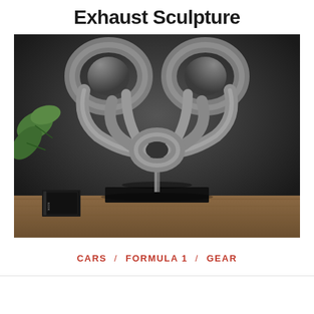Exhaust Sculpture
[Figure (photo): A polished metal exhaust sculpture made from intertwined exhaust pipes, symmetrically arranged and displayed on a black base on a wooden surface. Green plant leaves visible on the left side, a book in the lower left corner. Dark grey background.]
CARS  /  FORMULA 1  /  GEAR